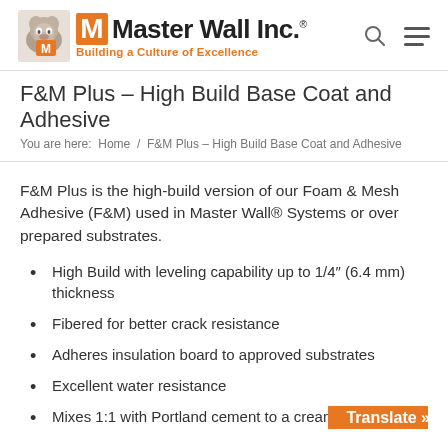[Figure (logo): Master Wall Inc. logo with bulldog mascot, orange M box, company name in bold black, and orange tagline 'Building a Culture of Excellence']
F&M Plus – High Build Base Coat and Adhesive
You are here:  Home  /  F&M Plus – High Build Base Coat and Adhesive
F&M Plus is the high-build version of our Foam & Mesh Adhesive (F&M) used in Master Wall® Systems or over prepared substrates.
High Build with leveling capability up to 1/4″ (6.4 mm) thickness
Fibered for better crack resistance
Adheres insulation board to approved substrates
Excellent water resistance
Mixes 1:1 with Portland cement to a cream
[Figure (other): Orange 'Translate »' button in bottom right corner]